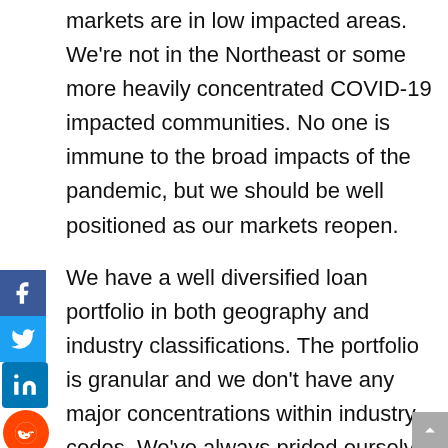markets are in low impacted areas. We're not in the Northeast or some more heavily concentrated COVID-19 impacted communities. No one is immune to the broad impacts of the pandemic, but we should be well positioned as our markets reopen.
We have a well diversified loan portfolio in both geography and industry classifications. The portfolio is granular and we don't have any major concentrations within industry codes. We've always prided ourselves on being a well-rounded, commercial and industrial or C&I bank versus the bank that focuses on CRE transactions or has targeted industry calling officers. Greater than 55% of our loan portfolio is the C&I operating companies and this is through owner-occupied real estate loans, equipment loans for lines of credit. We have very low exposure to SNIC [Phonetic]